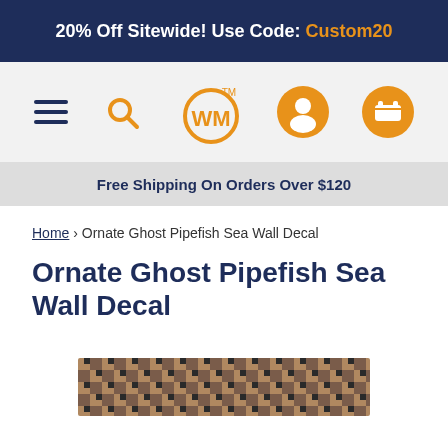20% Off Sitewide! Use Code: Custom20
[Figure (screenshot): Navigation bar with hamburger menu, search icon, WM logo, user icon, and cart icon on grey background]
Free Shipping On Orders Over $120
Home › Ornate Ghost Pipefish Sea Wall Decal
Ornate Ghost Pipefish Sea Wall Decal
[Figure (photo): Partial product image of Ornate Ghost Pipefish Sea Wall Decal at bottom of page]